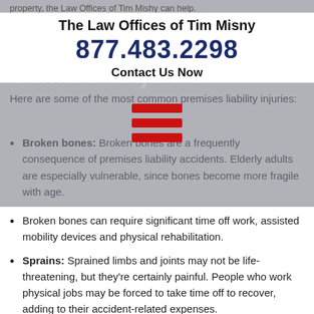property, the Law Offices of Tim Mishy can help.
The Law Offices of Tim Misny
877.483.2298
Contact Us Now
Common injuries
Here are some of the most common premises liability injuries:
[Figure (other): Red hamburger menu icon with three horizontal red bars]
Broken bones: Broken bones are a frequently consequence of premises liability accidents. Elderly adults are especially vulnerable, since bones become more fragile with age. Broken bones can require significant time off work, assisted mobility devices and physical rehabilitation.
Sprains: Sprained limbs and joints may not be life-threatening, but they’re certainly painful. People who work physical jobs may be forced to take time off to recover, adding to their accident-related expenses.
Lacerations and bruises: Plaintiffs often end up with